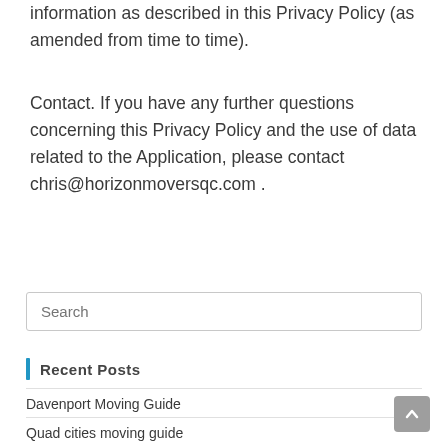information as described in this Privacy Policy (as amended from time to time).
Contact. If you have any further questions concerning this Privacy Policy and the use of data related to the Application, please contact chris@horizonmoversqc.com .
Search
Recent Posts
Davenport Moving Guide
Quad cities moving guide